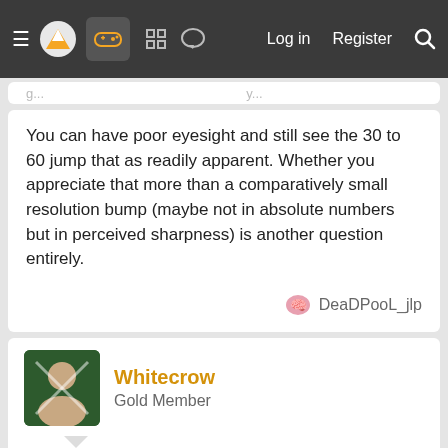Navigation bar with hamburger menu, logo, game controller icon, grid icon, chat icon, Log in, Register, Search
You can have poor eyesight and still see the 30 to 60 jump that as readily apparent. Whether you appreciate that more than a comparatively small resolution bump (maybe not in absolute numbers but in perceived sharpness) is another question entirely.
DeaDPooL_jlp
Whitecrow
Gold Member
Jun 9, 2021
grfunkulus said: ⊕
Depending on the distance, this can be factually incorrect. Plus, there's such a thing as diminishing returns. On the fps side, once